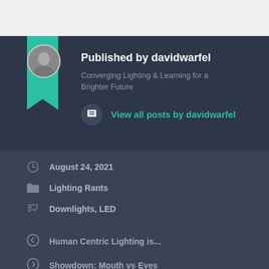Published by davidwarfel
Converging Lighting & Learning for a Brighter Future
View all posts by davidwarfel
August 24, 2021
Lighting Rants
Downlights, LED
Human Centric Lighting is...
Showdown: Mouth vs Eyes